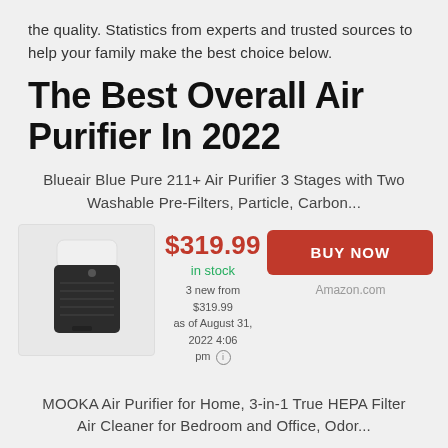the quality. Statistics from experts and trusted sources to help your family make the best choice below.
The Best Overall Air Purifier In 2022
Blueair Blue Pure 211+ Air Purifier 3 Stages with Two Washable Pre-Filters, Particle, Carbon...
$319.99
in stock
3 new from $319.99
as of August 31, 2022 4:06 pm
BUY NOW
Amazon.com
MOOKA Air Purifier for Home, 3-in-1 True HEPA Filter Air Cleaner for Bedroom and Office, Odor...